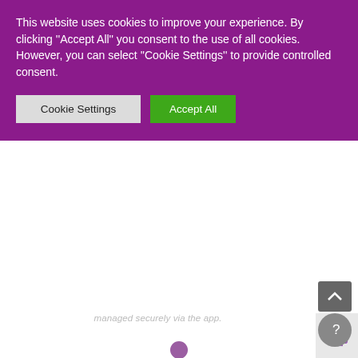This website uses cookies to improve your experience. By clicking ''Accept All'' you consent to the use of all cookies. However, you can select ''Cookie Settings'' to provide controlled consent.
Cookie Settings | Accept All
managed securely via the app.
[Figure (illustration): Purple location pin / geofence icon — a round pin on a vertical stem above an elliptical ring, in purple/mauve color]
Discover a range of local services with the 'Explore nearby' feature
Quickly search for services near your location, including parking, restaurants, cafes, bars, petrol stations, EV stations and more.